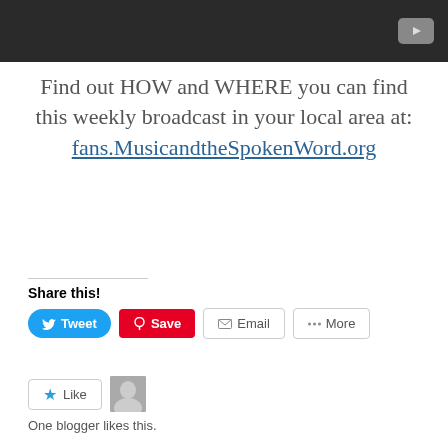[Figure (screenshot): Dark YouTube-style video player bar with play button icon on right]
Find out HOW and WHERE you can find this weekly broadcast in your local area at: fans.MusicandtheSpokenWord.org
Share this!
[Figure (screenshot): Share buttons row: Tweet (blue), Save (red/Pinterest), Email (outlined), More (outlined)]
[Figure (screenshot): Like button with star icon and blogger avatar thumbnail. Text: One blogger likes this.]
Related
[Figure (photo): Two related article thumbnails partially visible at bottom of page]